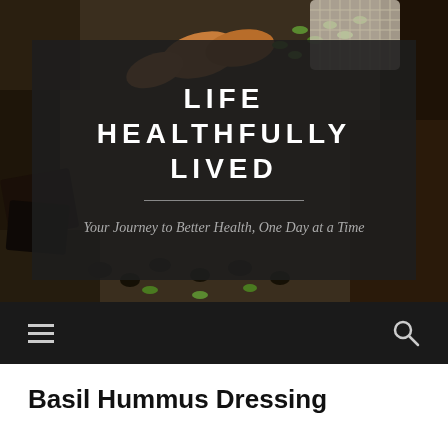[Figure (photo): Background photo of mixed nuts, seeds, and dried fruits spread on a surface]
LIFE HEALTHFULLY LIVED
Your Journey to Better Health, One Day at a Time
[Figure (other): Navigation bar with hamburger menu icon on left and search icon on right, dark background]
Basil Hummus Dressing